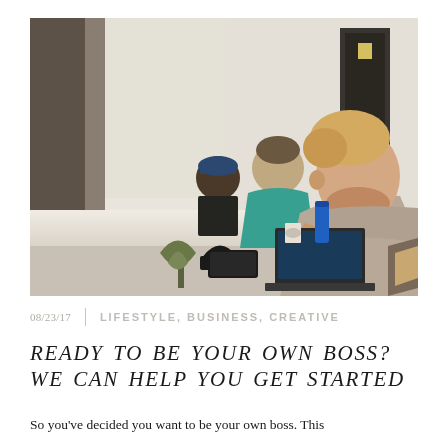[Figure (photo): People working on laptops at a long desk in a coworking space. A man with blonde hair and beard in a grey t-shirt is prominent in the foreground, working on a laptop. Two other people are seated behind him along the window-side desk.]
08/23/17   LIFESTYLE, BUSINESS, CREATIVE
READY TO BE YOUR OWN BOSS? WE CAN HELP YOU GET STARTED
So you've decided you want to be your own boss. This